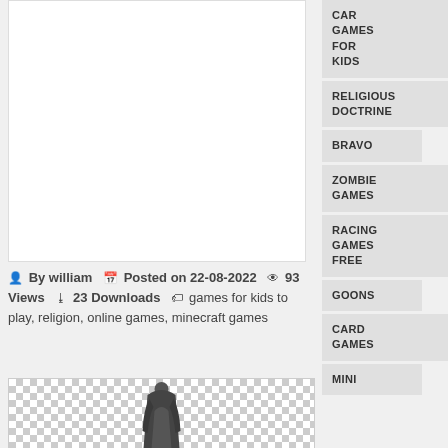[Figure (other): White ad placeholder box]
By william  Posted on 22-08-2022  93 Views  23 Downloads  games for kids to play, religion, online games, minecraft games
[Figure (illustration): Checkerboard background with a dark-cloaked hooded figure (Assassin's Creed style character) standing in the center]
CAR GAMES FOR KIDS
RELIGIOUS DOCTRINE
BRAVO
ZOMBIE GAMES
RACING GAMES FREE
GOONS
CARD GAMES
MINI